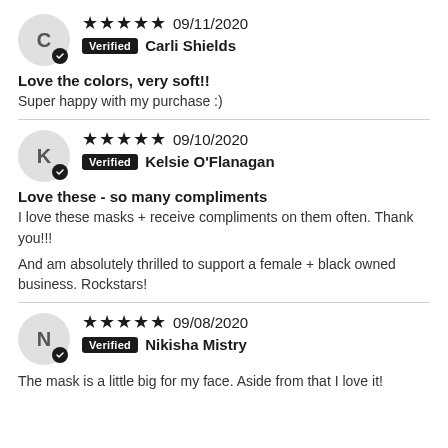★★★★★ 09/11/2020 Verified Carli Shields
Love the colors, very soft!!
Super happy with my purchase :)
★★★★★ 09/10/2020 Verified Kelsie O'Flanagan
Love these - so many compliments
I love these masks + receive compliments on them often. Thank you!!!
And am absolutely thrilled to support a female + black owned business. Rockstars!
★★★★★ 09/08/2020 Verified Nikisha Mistry
The mask is a little big for my face. Aside from that I love it!